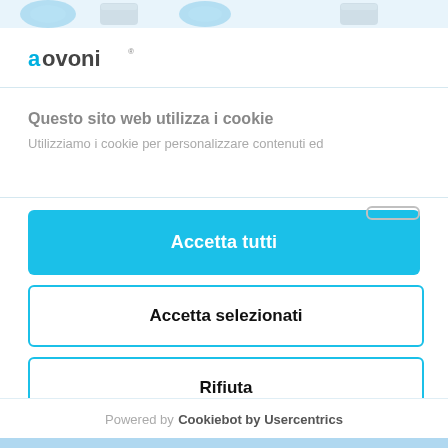[Figure (screenshot): Top strip with partial product images (cans and circular items) cropped at top edge]
[Figure (logo): Govoni brand logo in teal and grey text]
Questo sito web utilizza i cookie
Utilizziamo i cookie per personalizzare contenuti ed
Accetta tutti
Accetta selezionati
Rifiuta
Powered by Cookiebot by Usercentrics